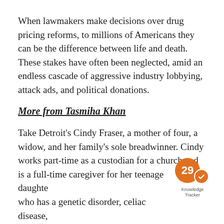When lawmakers make decisions over drug pricing reforms, to millions of Americans they can be the difference between life and death. These stakes have often been neglected, amid an endless cascade of aggressive industry lobbying, attack ads, and political donations.
More from Tasmiha Khan
Take Detroit's Cindy Fraser, a mother of four, a widow, and her family's sole breadwinner. Cindy works part-time as a custodian for a church and is a full-time caregiver for her teenage daughter who has a genetic disorder, celiac disease, arthritis, and Type 1 diabetes.
[Figure (infographic): Orange circular badge showing the number 29 with a checkmark, labeled 'Knowledge Tracker']
Cindy's daughter is insured through the Children's Health Insurance Program, but they